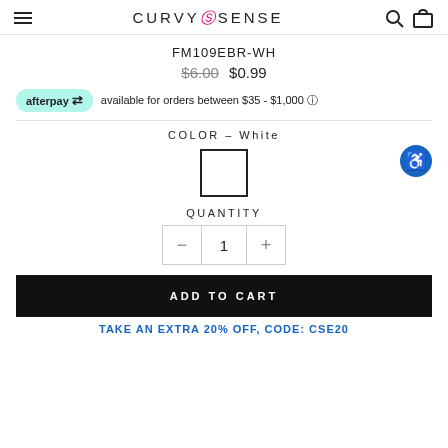CURVY SENSE
FM109EBR-WH
$6.00  $0.99
afterpay available for orders between $35 - $1,000 ℹ
COLOR – White
[Figure (illustration): White color swatch square with black border]
QUANTITY
- 1 +
ADD TO CART
TAKE AN EXTRA 20% OFF, CODE: CSE20